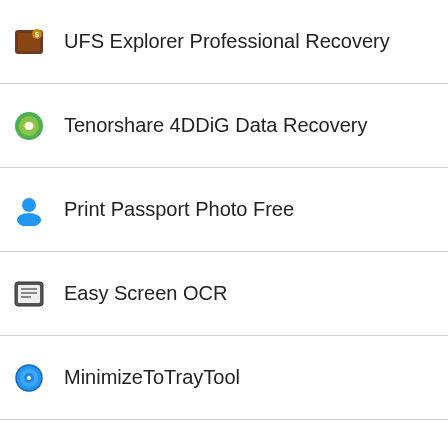UFS Explorer Professional Recovery
Tenorshare 4DDiG Data Recovery
Print Passport Photo Free
Easy Screen OCR
MinimizeToTrayTool